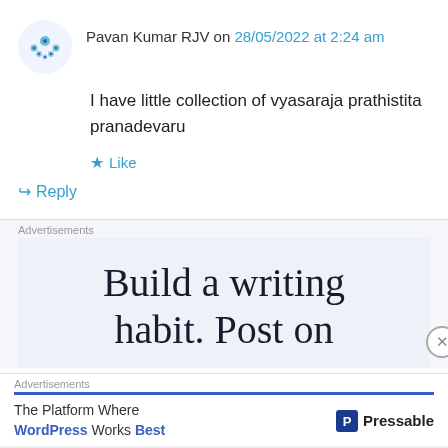Pavan Kumar RJV on 28/05/2022 at 2:24 am
I have little collection of vyasaraja prathistita pranadevaru
Like
Reply
Advertisements
[Figure (other): Advertisement banner reading 'Build a writing habit. Post on' with Pressable branding]
Advertisements
The Platform Where WordPress Works Best  Pressable